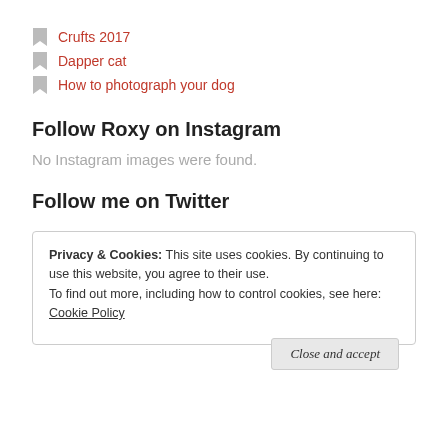Crufts 2017
Dapper cat
How to photograph your dog
Follow Roxy on Instagram
No Instagram images were found.
Follow me on Twitter
Privacy & Cookies: This site uses cookies. By continuing to use this website, you agree to their use.
To find out more, including how to control cookies, see here: Cookie Policy
Close and accept